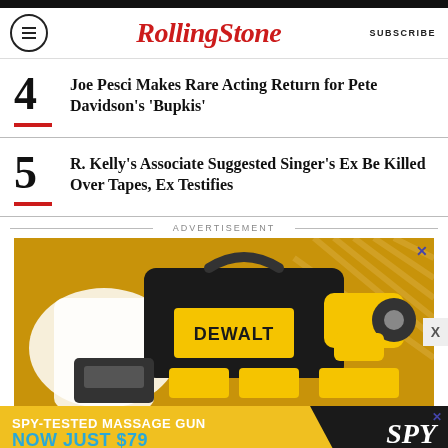RollingStone | SUBSCRIBE
Joe Pesci Makes Rare Acting Return for Pete Davidson's 'Bupkis'
R. Kelly's Associate Suggested Singer's Ex Be Killed Over Tapes, Ex Testifies
ADVERTISEMENT
[Figure (photo): DeWalt drill and tool bag advertisement]
[Figure (photo): SPY advertisement: Spy-Tested Massage Gun Now Just $79]